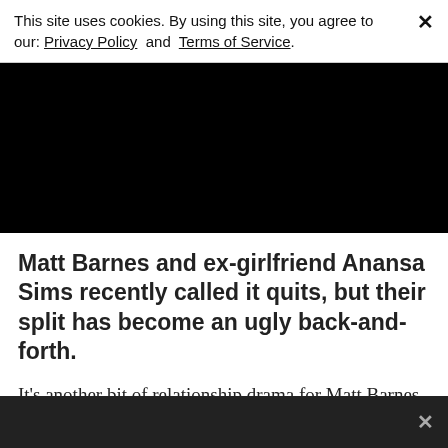This site uses cookies. By using this site, you agree to our: Privacy Policy and Terms of Service.
[Figure (screenshot): Black banner area at the top of a webpage, likely a video or advertisement placeholder]
Matt Barnes and ex-girlfriend Anansa Sims recently called it quits, but their split has become an ugly back-and-forth.
It's another bit of relationship drama for Matt Barnes now that he's split from Anansa Sims. The former couple were together for two years and